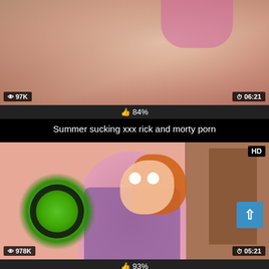[Figure (screenshot): Animated adult content thumbnail - top card showing anime-style illustration]
97K views, 06:21 duration
84%
Summer sucking xxx rick and morty porn
[Figure (screenshot): Animated adult content thumbnail - bottom card showing Rick and Morty character Summer with HD badge]
978K views, 05:21 duration
93%